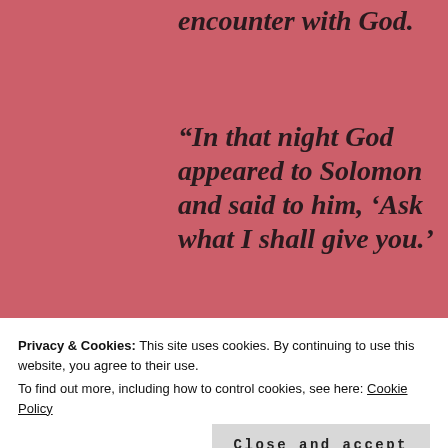encounter with God.
“In that night God appeared to Solomon and said to him, ‘Ask what I shall give you.’
Solomon said to God, ‘You have dealt with my father David with great lovingkindness, and have made me king in his place.  Now, O Lord God, Your promise to my father David is fulfilled, for You come in before this people, for who
Privacy & Cookies: This site uses cookies. By continuing to use this website, you agree to their use.
To find out more, including how to control cookies, see here: Cookie Policy
Close and accept